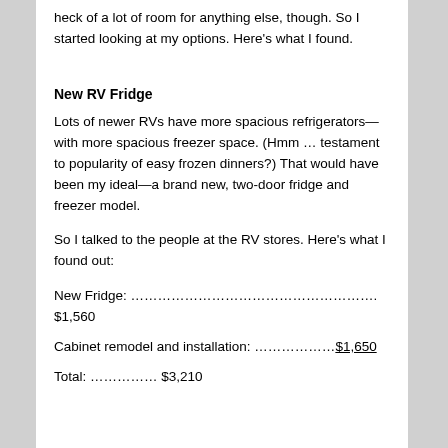heck of a lot of room for anything else, though. So I started looking at my options. Here's what I found.
New RV Fridge
Lots of newer RVs have more spacious refrigerators—with more spacious freezer space. (Hmm … testament to popularity of easy frozen dinners?) That would have been my ideal—a brand new, two-door fridge and freezer model.
So I talked to the people at the RV stores. Here's what I found out:
New Fridge: ………………………………………………. $1,560
Cabinet remodel and installation: ………………$1,650
Total: …………… $3,210